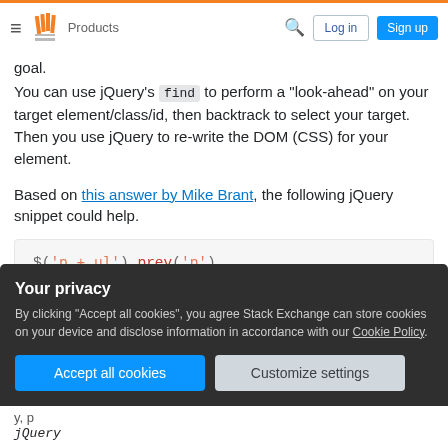≡  [Stack Overflow logo]  Products  🔍  Log in  Sign up
goal.
You can use jQuery's find to perform a "look-ahead" on your target element/class/id, then backtrack to select your target.
Then you use jQuery to re-write the DOM (CSS) for your element.
Based on this answer by Mike Brant, the following jQuery snippet could help.
$('p + ul').prev('p')
Your privacy
By clicking "Accept all cookies", you agree Stack Exchange can store cookies on your device and disclose information in accordance with our Cookie Policy.
Accept all cookies   Customize settings
jQuery